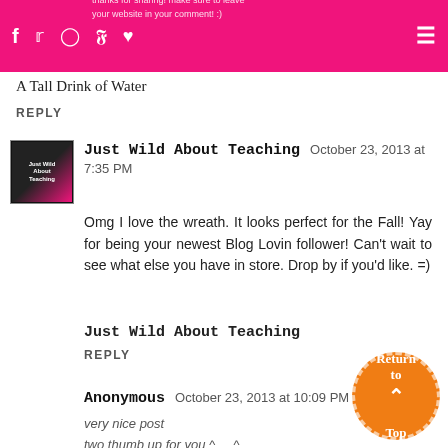Social media navigation bar with icons (f, twitter, instagram, pinterest, heart) and hamburger menu
A Tall Drink of Water
REPLY
Just Wild About Teaching  October 23, 2013 at 7:35 PM
Omg I love the wreath. It looks perfect for the Fall! Yay for being your newest Blog Lovin follower! Can't wait to see what else you have in store. Drop by if you'd like. =)
Just Wild About Teaching
REPLY
Anonymous  October 23, 2013 at 10:09 PM
very nice post
two thumb up for you ^    ^